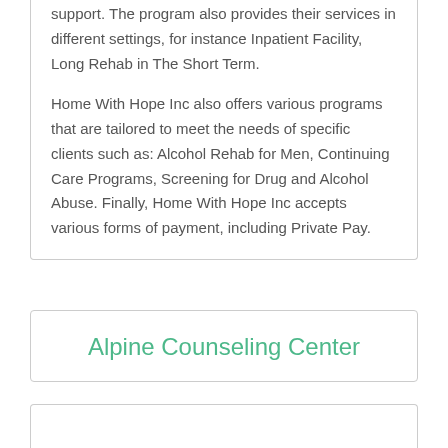support. The program also provides their services in different settings, for instance Inpatient Facility, Long Rehab in The Short Term.

Home With Hope Inc also offers various programs that are tailored to meet the needs of specific clients such as: Alcohol Rehab for Men, Continuing Care Programs, Screening for Drug and Alcohol Abuse. Finally, Home With Hope Inc accepts various forms of payment, including Private Pay.
Alpine Counseling Center